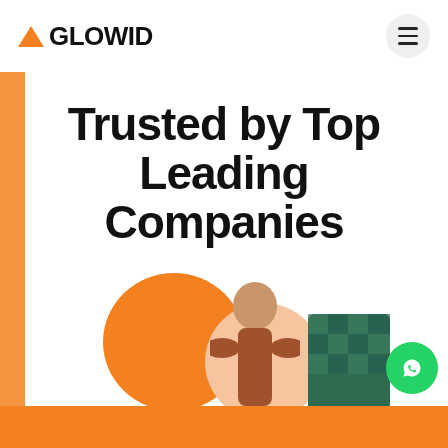AGLOWID
Trusted by Top Leading Companies
in USA, Canada, Australia, UK and UAE
[Figure (illustration): Bottom section showing a person with orange and peach decorative circles and a green patterned box, with a WhatsApp contact button on the right.]